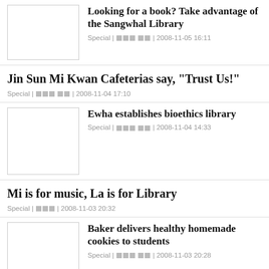[Figure (photo): Thumbnail image placeholder for Sangwhal Library article]
Looking for a book? Take advantage of the Sangwhal Library
Special | 쌍 쌍 쌍 쌍 쌍 | 2008-11-05 16:11
Jin Sun Mi Kwan Cafeterias say, "Trust Us!"
Special | 쌍 쌍 쌍 | 2008-11-04 17:10
[Figure (photo): Thumbnail image placeholder for Ewha bioethics library article]
Ewha establishes bioethics library
Special | 쌍 쌍 쌍 쌍 쌍 | 2008-11-04 14:33
Mi is for music, La is for Library
Special | 쌍 쌍 쌍 | 2008-11-03 20:32
[Figure (photo): Thumbnail image placeholder for Baker cookies article]
Baker delivers healthy homemade cookies to students
Special | 쌍 쌍 쌍 쌍 쌍 | 2008-11-03 20:28